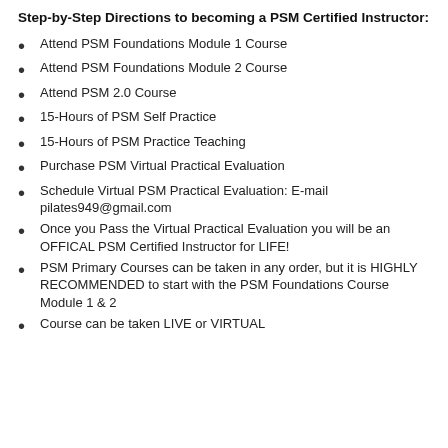Step-by-Step Directions to becoming a PSM Certified Instructor:
Attend PSM Foundations Module 1 Course
Attend PSM Foundations Module 2 Course
Attend PSM 2.0 Course
15-Hours of PSM Self Practice
15-Hours of PSM Practice Teaching
Purchase PSM Virtual Practical Evaluation
Schedule Virtual PSM Practical Evaluation: E-mail pilates949@gmail.com
Once you Pass the Virtual Practical Evaluation you will be an OFFICAL PSM Certified Instructor for LIFE!
PSM Primary Courses can be taken in any order, but it is HIGHLY RECOMMENDED to start with the PSM Foundations Course Module 1 & 2
Course can be taken LIVE or VIRTUAL